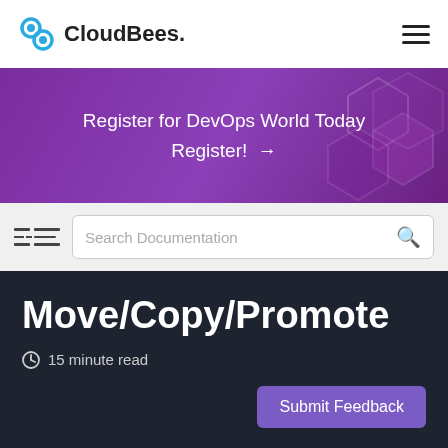[Figure (logo): CloudBees logo with blue circular icon and hamburger menu on right]
[Figure (infographic): Purple banner with hexagon decorations reading 'Register for DevOps World Today Register! →']
Register for DevOps World Today
Register!  →
[Figure (infographic): Search documentation bar with TOC icon and search field]
Move/Copy/Promote
15 minute read
Submit Feedback